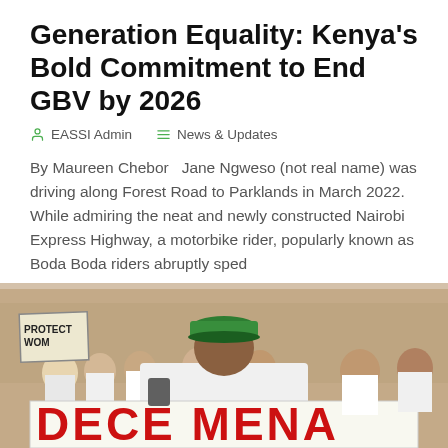Generation Equality: Kenya's Bold Commitment to End GBV by 2026
EASSI Admin   News & Updates
By Maureen Chebor   Jane Ngweso (not real name) was driving along Forest Road to Parklands in March 2022. While admiring the neat and newly constructed Nairobi Express Highway, a motorbike rider, popularly known as Boda Boda riders abruptly sped
[Figure (photo): Protest scene showing people in white shirts holding signs including 'PROTECT WOMEN' and a large banner with red text reading 'DECE MENA' (partially visible). A person wearing a green cap is prominent in the foreground.]